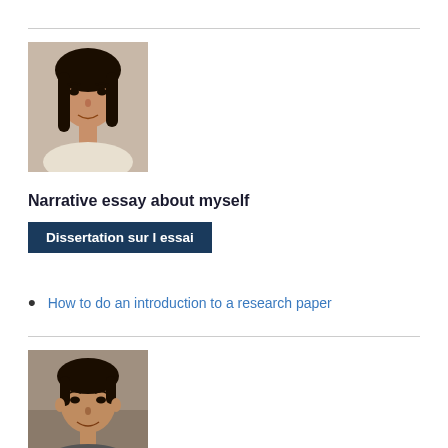[Figure (photo): Portrait photo of a young Asian woman with long dark hair]
Narrative essay about myself
Dissertation sur l essai
How to do an introduction to a research paper
[Figure (photo): Portrait photo of a young Asian man smiling]
Greg Christman
Happy with the order.